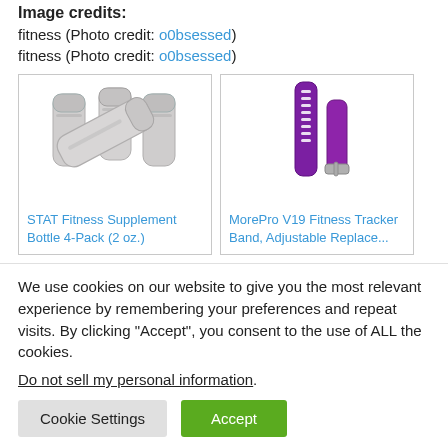Image credits:
fitness (Photo credit: o0bsessed)
fitness (Photo credit: o0bsessed)
[Figure (photo): STAT Fitness Supplement Bottle 4-Pack (2 oz.) product image showing translucent white pill bottles]
STAT Fitness Supplement Bottle 4-Pack (2 oz.)
[Figure (photo): MorePro V19 Fitness Tracker Band, Adjustable Replace... product image showing purple fitness band with buckle]
MorePro V19 Fitness Tracker Band, Adjustable Replace...
We use cookies on our website to give you the most relevant experience by remembering your preferences and repeat visits. By clicking “Accept”, you consent to the use of ALL the cookies.
Do not sell my personal information.